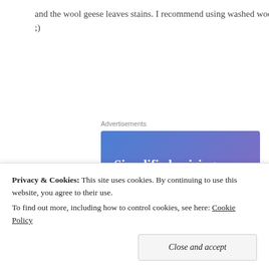and the wool geese leaves stains. I recommend using washed wool! ;)
Advertisements
[Figure (illustration): Advertisement banner with gradient blue-purple background. Text reads 'Simplified pricing for everything you need.' with a pink 'Build Your Website' button and a decorative price tag graphic on the right.]
Privacy & Cookies: This site uses cookies. By continuing to use this website, you agree to their use.
To find out more, including how to control cookies, see here: Cookie Policy
Close and accept